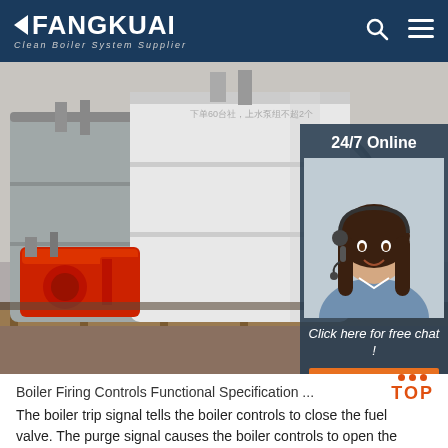FANGKUAI — Clean Boiler System Supplier
[Figure (photo): Industrial boiler units with red burner assembly on wooden pallets in a warehouse, with a 24/7 online customer service overlay panel showing an agent and QUOTATION button]
Boiler Firing Controls Functional Specification ...
The boiler trip signal tells the boiler controls to close the fuel valve. The purge signal causes the boiler controls to open the FD